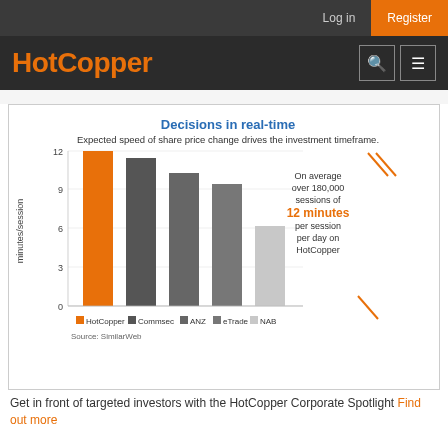Log in | Register
HotCopper
[Figure (bar-chart): Decisions in real-time]
Get in front of targeted investors with the HotCopper Corporate Spotlight Find out more